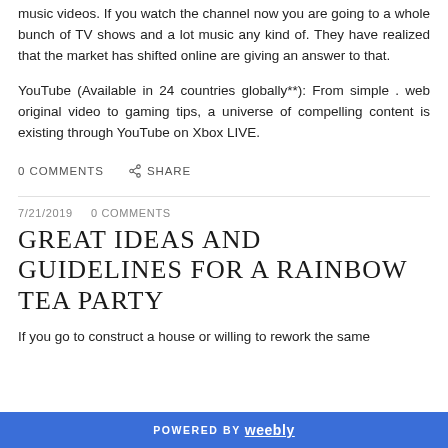music videos. If you watch the channel now you are going to a whole bunch of TV shows and a lot music any kind of. They have realized that the market has shifted online are giving an answer to that.
YouTube (Available in 24 countries globally**): From simple . web original video to gaming tips, a universe of compelling content is existing through YouTube on Xbox LIVE.
0 COMMENTS  SHARE
7/21/2019  0 COMMENTS
GREAT IDEAS AND GUIDELINES FOR A RAINBOW TEA PARTY
If you go to construct a house or willing to rework the same
POWERED BY weebly